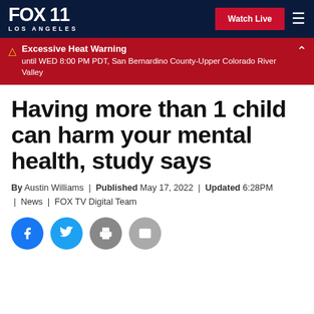FOX 11 LOS ANGELES | Watch Live
Excessive Heat Warning until WED 8:00 PM PDT, San Bernardino County-Upper Colorado River Valley
Having more than 1 child can harm your mental health, study says
By Austin Williams | Published May 17, 2022 | Updated 6:28PM | News | FOX TV Digital Team
[Figure (other): Social share buttons: Facebook, Twitter, Print, Email]